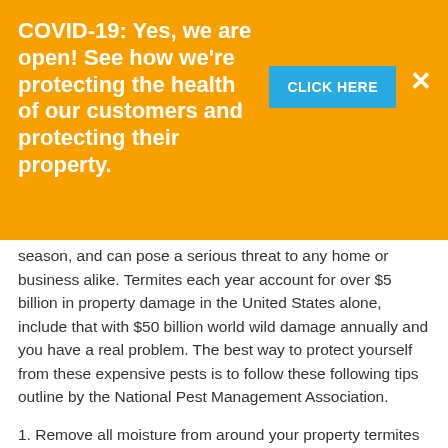[Figure (infographic): Orange COVID-19 banner with bold white text: 'COVID-19: Yes, we are open! See how we're protecting the health of our customers and protecting their property.' with a blue 'CLICK HERE' button and a white X close button.]
season, and can pose a serious threat to any home or business alike. Termites each year account for over $5 billion in property damage in the United States alone, include that with $50 billion world wild damage annually and you have a real problem. The best way to protect yourself from these expensive pests is to follow these following tips outline by the National Pest Management Association.
1. Remove all moisture from around your property termites love moisture, and need it to start a colony. The moisture you want to remove would be standing water